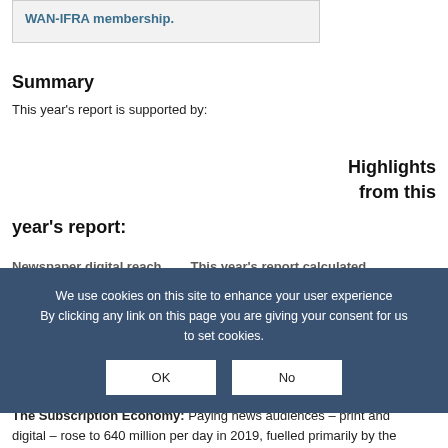WAN-IFRA membership.
Summary
This year's report is supported by:
Highlights from this year's report:
(+0.5% YoY).
The Subscription Economy: Paying news audiences – print and digital – rose to 640 million per day in 2019, fuelled primarily by the
We use cookies on this site to enhance your user experience By clicking any link on this page you are giving your consent for us to set cookies.